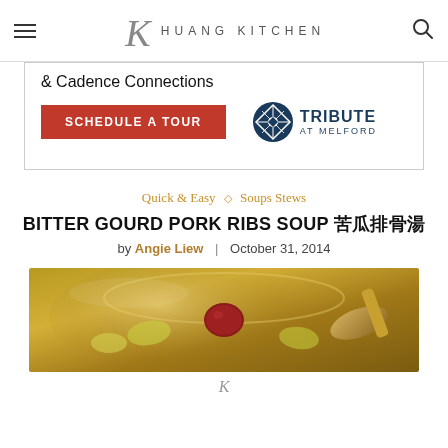HUANG KITCHEN
[Figure (other): Advertisement banner for Tribute at Melford with 'Schedule a Tour' CTA button and '& Cadence Connections' text]
Quick & Easy ◇ Soups Stews
BITTER GOURD PORK RIBS SOUP 苦瓜排骨湯
by Angie Liew | October 31, 2014
[Figure (photo): Close-up photo of bitter gourd pork ribs soup showing yellow-green soup with a red date and a wooden spoon]